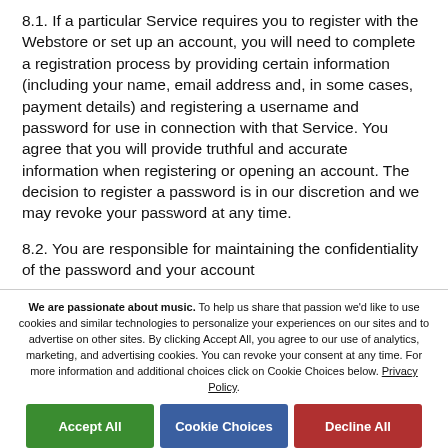8.1. If a particular Service requires you to register with the Webstore or set up an account, you will need to complete a registration process by providing certain information (including your name, email address and, in some cases, payment details) and registering a username and password for use in connection with that Service. You agree that you will provide truthful and accurate information when registering or opening an account. The decision to register a password is in our discretion and we may revoke your password at any time.
8.2. You are responsible for maintaining the confidentiality of the password and your account
We are passionate about music. To help us share that passion we'd like to use cookies and similar technologies to personalize your experiences on our sites and to advertise on other sites. By clicking Accept All, you agree to our use of analytics, marketing, and advertising cookies. You can revoke your consent at any time. For more information and additional choices click on Cookie Choices below. Privacy Policy.